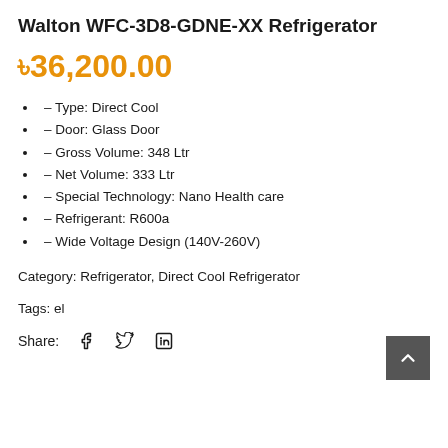Walton WFC-3D8-GDNE-XX Refrigerator
৳36,200.00
- Type: Direct Cool
- Door: Glass Door
- Gross Volume: 348 Ltr
- Net Volume: 333 Ltr
- Special Technology: Nano Health care
- Refrigerant: R600a
- Wide Voltage Design (140V-260V)
Category: Refrigerator, Direct Cool Refrigerator
Tags: el
Share: